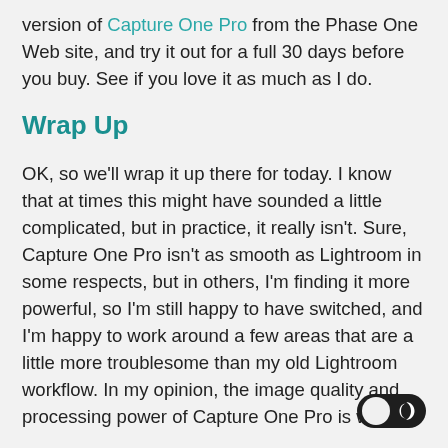version of Capture One Pro from the Phase One Web site, and try it out for a full 30 days before you buy. See if you love it as much as I do.
Wrap Up
OK, so we'll wrap it up there for today. I know that at times this might have sounded a little complicated, but in practice, it really isn't. Sure, Capture One Pro isn't as smooth as Lightroom in some respects, but in others, I'm finding it more powerful, so I'm still happy to have switched, and I'm happy to work around a few areas that are a little more troublesome than my old Lightroom workflow. In my opinion, the image quality and processing power of Capture One Pro is worth it.
Also, note that if you are subscribed to Capture O...